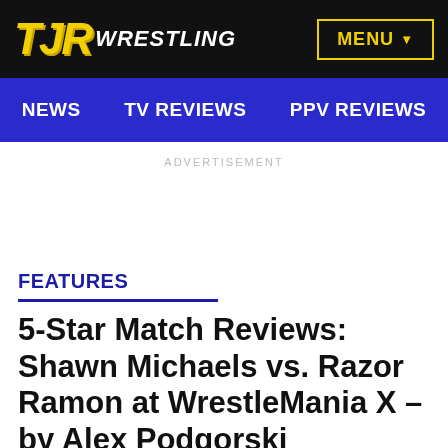TJR WRESTLING | MENU
NEWS | TV REVIEWS | PPV REVIEWS
ADVERTISEMENT
FEATURES
5-Star Match Reviews: Shawn Michaels vs. Razor Ramon at WrestleMania X - by Alex Podgorski